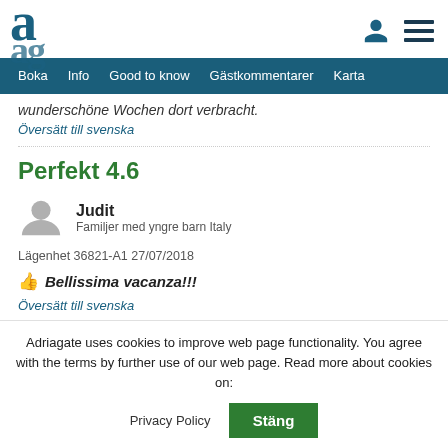a [logo] / person icon / menu icon
Boka | Info | Good to know | Gästkommentarer | Karta
wunderschöne Wochen dort verbracht.
Översätt till svenska
Perfekt 4.6
Judit
Familjer med yngre barn Italy
Lägenhet 36821-A1 27/07/2018
👍 Bellissima vacanza!!!
Översätt till svenska
Adriagate uses cookies to improve web page functionality. You agree with the terms by further use of our web page. Read more about cookies on:
Privacy Policy | Stäng